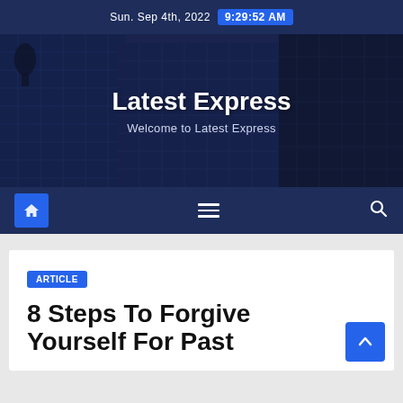Sun. Sep 4th, 2022  9:29:52 AM
[Figure (photo): Hero banner with dark blue overlay showing cityscape/skyscraper glass building facade from below]
Latest Express
Welcome to Latest Express
Navigation bar with home icon, hamburger menu, and search icon
ARTICLE
8 Steps To Forgive Yourself For Past